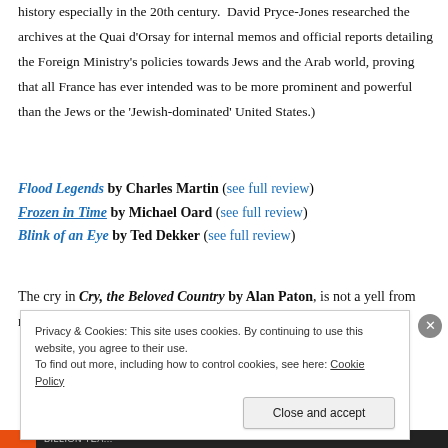history especially in the 20th century. David Pryce-Jones researched the archives at the Quai d'Orsay for internal memos and official reports detailing the Foreign Ministry's policies towards Jews and the Arab world, proving that all France has ever intended was to be more prominent and powerful than the Jews or the 'Jewish-dominated' United States.)
Flood Legends by Charles Martin (see full review)
Frozen in Time by Michael Oard (see full review)
Blink of an Eye by Ted Dekker (see full review)
The cry in Cry, the Beloved Country by Alan Paton, is not a yell from rooftops. This is a crying book, with tissue
Privacy & Cookies: This site uses cookies. By continuing to use this website, you agree to their use. To find out more, including how to control cookies, see here: Cookie Policy